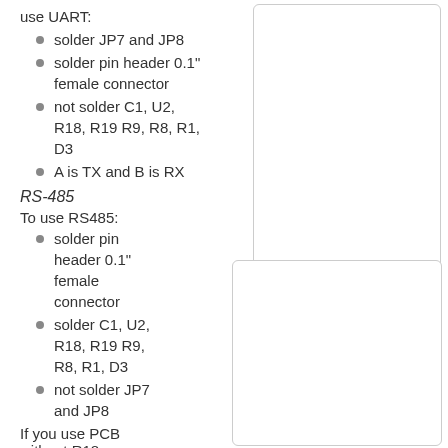use UART:
solder JP7 and JP8
solder pin header 0.1" female connector
not solder C1, U2, R18, R19 R9, R8, R1, D3
A is TX and B is RX
[Figure (screenshot): Pin Header image box with label 'Pin Header' and search icon]
RS-485
To use RS485:
solder pin header 0.1" female connector
solder C1, U2, R18, R19 R9, R8, R1, D3
not solder JP7 and JP8
If you use PCB without R18
[Figure (screenshot): RS-485 component image box (empty, partial)]